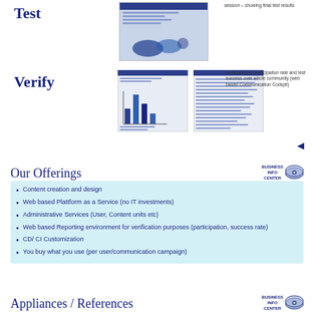Test
[Figure (screenshot): Screenshot of a test session showing final test results]
session – showing final test results
Verify
[Figure (screenshot): Two screenshots showing verification of participation rate and test success over whole community (web based Communication Cockpit)]
Verification of participation rate and test success over whole community (web based Communication Cockpit)
Our Offerings
Content creation and design
Web based Plattform as a Service (no IT investments)
Administrative Services (User, Content units etc)
Web based Reporting environment for verification purposes (participation, success rate)
CD/ CI Customization
You  buy what you use (per user/communication campaign)
Appliances / References